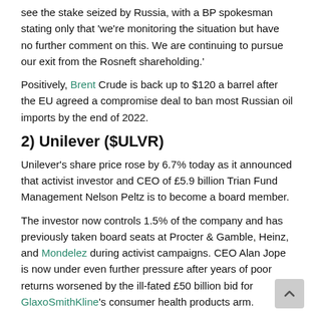see the stake seized by Russia, with a BP spokesman stating only that 'we're monitoring the situation but have no further comment on this. We are continuing to pursue our exit from the Rosneft shareholding.'
Positively, Brent Crude is back up to $120 a barrel after the EU agreed a compromise deal to ban most Russian oil imports by the end of 2022.
2) Unilever ($ULVR)
Unilever's share price rose by 6.7% today as it announced that activist investor and CEO of £5.9 billion Trian Fund Management Nelson Peltz is to become a board member.
The investor now controls 1.5% of the company and has previously taken board seats at Procter & Gamble, Heinz, and Mondelez during activist campaigns. CEO Alan Jope is now under even further pressure after years of poor returns worsened by the ill-fated £50 billion bid for GlaxoSmithKline's consumer health products arm.